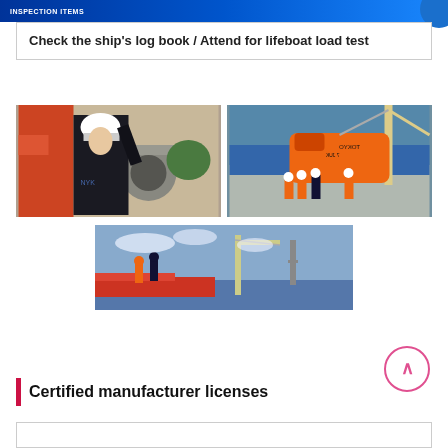INSPECTION ITEMS
Check the ship's log book / Attend for lifeboat load test
[Figure (photo): Engineer in white hard hat inspecting ship machinery with orange pipes and equipment]
[Figure (photo): Crew members in orange and white safety gear attending lifeboat load test; large orange lifeboat labeled TOKYO suspended over water]
[Figure (photo): Crew members on ship deck in orange safety gear with harbor and tower visible in background]
Certified manufacturer licenses